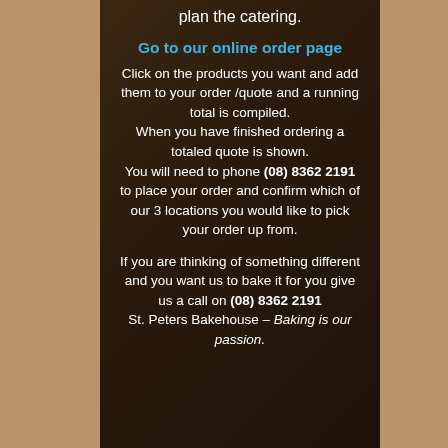plan the catering.
Go to our online order page
Click on the products you want and add them to your order /quote and a running total is compiled.
When you have finished ordering a totaled quote is shown.
You will need to phone (08) 8362 2191 to place your order and confirm which of our 3 locations you would like to pick your order up from.
If you are thinking of something different and you want us to bake it for you give us a call on (08) 8362 2191
St. Peters Bakehouse – Baking is our passion.